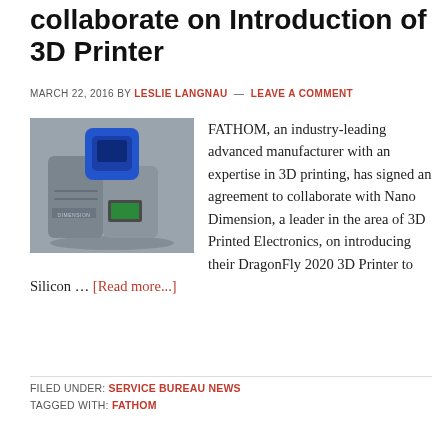collaborate on Introduction of 3D Printer
MARCH 22, 2016 BY LESLIE LANGNAU — LEAVE A COMMENT
[Figure (photo): Photo of a 3D printer machine, grey with blue top element, with 'DIMENSION' label visible on the front.]
FATHOM, an industry-leading advanced manufacturer with an expertise in 3D printing, has signed an agreement to collaborate with Nano Dimension, a leader in the area of 3D Printed Electronics, on introducing their DragonFly 2020 3D Printer to Silicon … [Read more...]
FILED UNDER: SERVICE BUREAU NEWS
TAGGED WITH: FATHOM